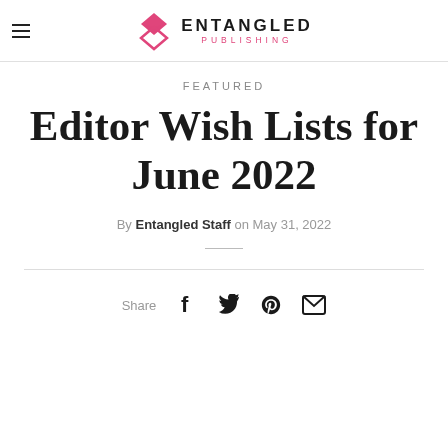Entangled Publishing
FEATURED
Editor Wish Lists for June 2022
By Entangled Staff on May 31, 2022
Share